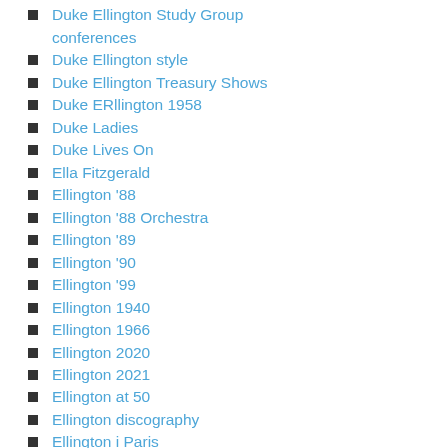Sweden
Duke Ellington Study Group conferences
Duke Ellington style
Duke Ellington Treasury Shows
Duke ERllington 1958
Duke Ladies
Duke Lives On
Ella Fitzgerald
Ellington '88
Ellington '88 Orchestra
Ellington '89
Ellington '90
Ellington '99
Ellington 1940
Ellington 1966
Ellington 2020
Ellington 2021
Ellington at 50
Ellington discography
Ellington i Paris
Ellington i Sverige
Ellington in Europe 1939
Ellington in Sweden